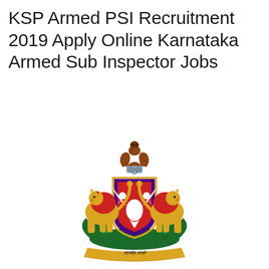KSP Armed PSI Recruitment 2019 Apply Online Karnataka Armed Sub Inspector Jobs
[Figure (illustration): Karnataka state emblem / coat of arms featuring two golden lions supporting a central shield with a double-headed eagle (Gandaberunda), topped by the Ashoka Lion Capital, with green foliage at the base and a golden banner ribbon inscribed with 'Satyameva Jayate' in Devanagari script.]